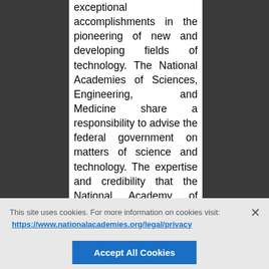exceptional accomplishments in the pioneering of new and developing fields of technology. The National Academies of Sciences, Engineering, and Medicine share a responsibility to advise the federal government on matters of science and technology. The expertise and credibility that the National Academy of Engineering brings to that task stem directly from the abilities, interests, and achievements of our members and foreign members—
This site uses cookies. For more information on cookies visit: https://www.nationalacademies.org/legal/privacy
Accept All Cookies